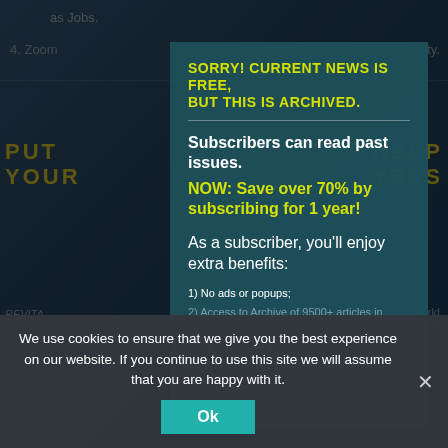as Jobs.
4. Zoom ... r city.
PUT ... HELP YOUR ... YEES
REVITA ... world. And it p ... eeded to do so. Curren ... So, put ... website ...
[Figure (screenshot): Modal popup overlay on a dark teal background. Header in yellow uppercase: 'SORRY! CURRENT NEWS IS FREE, BUT THIS IS ARCHIVED.' followed by a divider. White bold text: 'Subscribers can read past issues.' Yellow bold text: 'NOW: Save over 70% by subscribing for 1 year!' White text: 'As a subscriber, you'll enjoy extra benefits:' List items: '1) No ads or popups;' '2) Access to Archive of 9500+ articles in 175+ Past Issues;' '3) ...' '4) Satisfaction of ... iterative work; and' '5) Email notification of ... (2X/month). And More!']
We use cookies to ensure that we give you the best experience on our website. If you continue to use this site we will assume that you are happy with it.
Ok